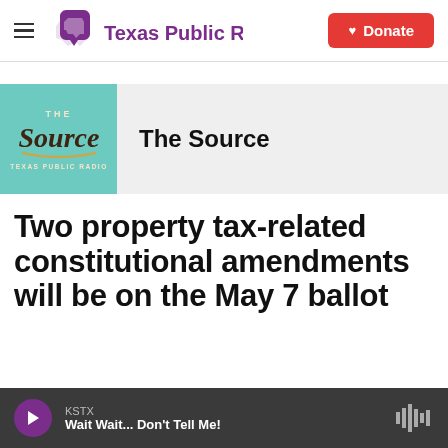Texas Public Radio | Donate
[Figure (logo): The Source show logo — teal square background with stylized 'The Source' script text in brown/cream, TEXAS PUBLIC RADIO below]
The Source
Two property tax-related constitutional amendments will be on the May 7 ballot
KSTX — Wait Wait... Don't Tell Me!